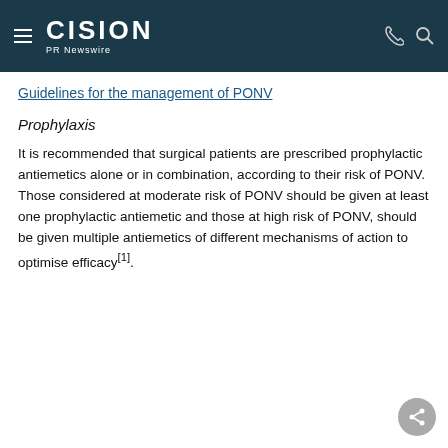CISION PR Newswire
Guidelines for the management of PONV
Prophylaxis
It is recommended that surgical patients are prescribed prophylactic antiemetics alone or in combination, according to their risk of PONV. Those considered at moderate risk of PONV should be given at least one prophylactic antiemetic and those at high risk of PONV, should be given multiple antiemetics of different mechanisms of action to optimise efficacy[1].